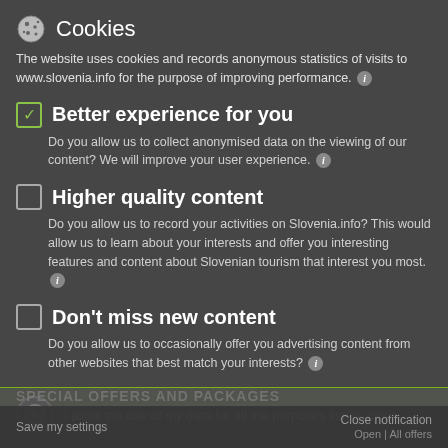Cookies
The website uses cookies and records anonymous statistics of visits to www.slovenia.info for the purpose of improving performance.
Better experience for you
Do you allow us to collect anonymised data on the viewing of our content? We will improve your user experience.
Higher quality content
Do you allow us to record your activities on Slovenia.info? This would allow us to learn about your interests and offer you interesting features and content about Slovenian tourism that interest you most.
Don't miss new content
Do you allow us to occasionally offer you advertising content from other websites that best match your interests?
Close notification,
I allow the use of my data for all the purposes listed above.
Save my settings | Close notification